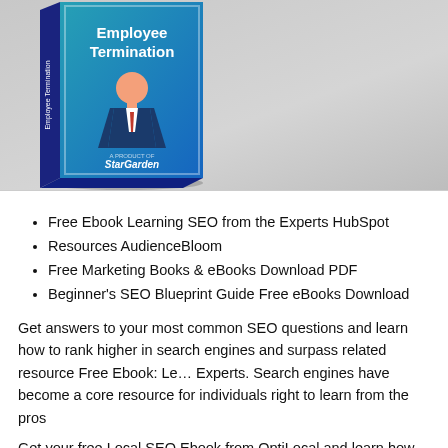[Figure (illustration): 3D book cover titled 'Employee Termination' with a cartoon businessman figure in a suit, published by StarGarden, against a blue/teal gradient background. The book is rendered as a 3D perspective object on a grey surface.]
Free Ebook Learning SEO from the Experts HubSpot
Resources AudienceBloom
Free Marketing Books & eBooks Download PDF
Beginner's SEO Blueprint Guide Free eBooks Download
Get answers to your most common SEO questions and learn how to rank higher in search engines and surpass related resource Free Ebook: Le... Experts. Search engines have become a core resource for individuals right to learn from the pros
Get your free Local SEO Ebook from OptiLocal and learn how to au...